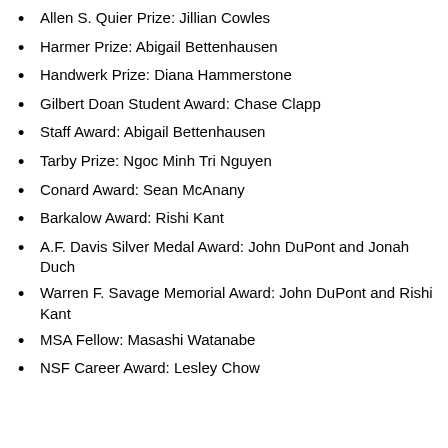Allen S. Quier Prize: Jillian Cowles
Harmer Prize: Abigail Bettenhausen
Handwerk Prize: Diana Hammerstone
Gilbert Doan Student Award: Chase Clapp
Staff Award: Abigail Bettenhausen
Tarby Prize: Ngoc Minh Tri Nguyen
Conard Award: Sean McAnany
Barkalow Award: Rishi Kant
A.F. Davis Silver Medal Award: John DuPont and Jonah Duch
Warren F. Savage Memorial Award: John DuPont and Rishi Kant
MSA Fellow: Masashi Watanabe
NSF Career Award: Lesley Chow